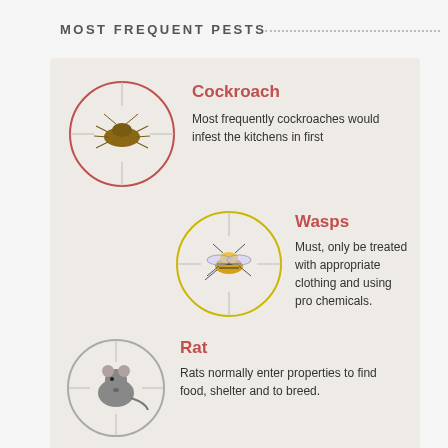MOST FREQUENT PESTS
[Figure (infographic): Infographic showing most frequent pests with circular crosshair icons and descriptions for Cockroach, Wasps, Rat, and Bed bug.]
Cockroach
Most frequently cockroaches would infest the kitchens in first
Wasps
Must, only be treated with appropriate clothing and using pro chemicals.
Rat
Rats normally enter properties to find food, shelter and to breed.
Bed bug
They will be found in public places